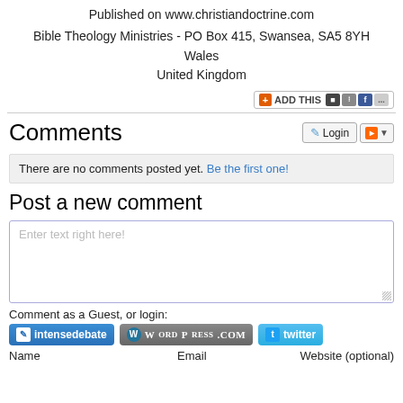Published on www.christiandoctrine.com
Bible Theology Ministries - PO Box 415, Swansea, SA5 8YH
Wales
United Kingdom
[Figure (screenshot): AddThis social sharing button bar]
Comments
[Figure (screenshot): Login and RSS feed buttons]
There are no comments posted yet. Be the first one!
Post a new comment
[Figure (screenshot): Comment text area with placeholder 'Enter text right here!']
Comment as a Guest, or login:
[Figure (screenshot): Login buttons: intensedebate, WordPress.com, twitter]
Name    Email    Website (optional)